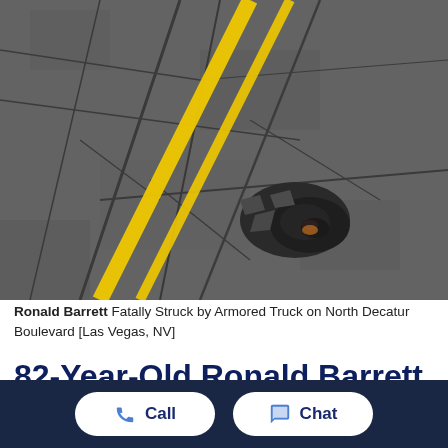[Figure (photo): Close-up photo of cracked asphalt road surface with yellow road markings and a pothole filled with dark liquid]
Ronald Barrett Fatally Struck by Armored Truck on North Decatur Boulevard [Las Vegas, NV]
82-Year-Old Ronald Barrett Hit and Killed by Armored
Call
Chat